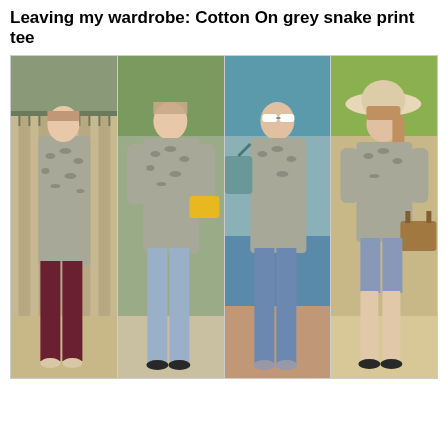Leaving my wardrobe: Cotton On grey snake print tee
[Figure (photo): Four photos of a woman wearing the same grey snake print tee styled four different ways: (1) with dark red/burgundy skinny jeans; (2) with light blue skinny jeans and a yellow clutch bag; (3) with blue skinny jeans, white sunglasses, and a teal shoulder bag; (4) with denim shorts, a yellow chunky necklace, a wide-brim beige hat, and a brown Louis Vuitton-style handbag.]